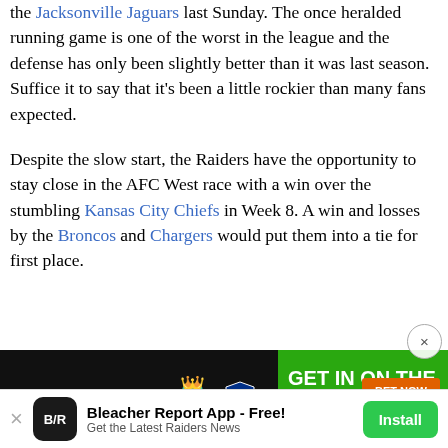the Jacksonville Jaguars last Sunday. The once heralded running game is one of the worst in the league and the defense has only been slightly better than it was last season. Suffice it to say that it’s been a little rockier than many fans expected.
Despite the slow start, the Raiders have the opportunity to stay close in the AFC West race with a win over the stumbling Kansas City Chiefs in Week 8. A win and losses by the Broncos and Chargers would put them into a tie for first place.
[Figure (other): DraftKings NFL advertisement banner: GET IN ON THE NFL ACTION with BET NOW button. DraftKings logo with crown icon and NFL shield on left. Green background. Fine print: Gambling Problem? Call (877-8-HOPENY) or text HOPENY (467369).]
Bleacher Report App - Free!
Get the Latest Raiders News